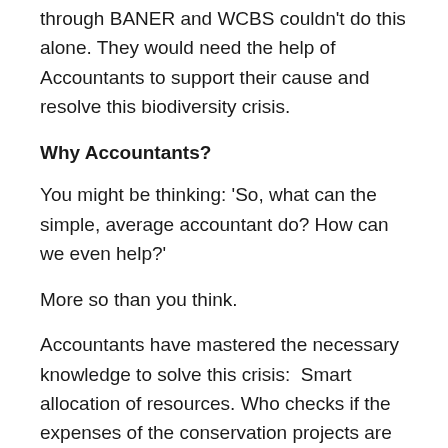through BANER and WCBS couldn't do this alone. They would need the help of Accountants to support their cause and resolve this biodiversity crisis.
Why Accountants?
You might be thinking: 'So, what can the simple, average accountant do? How can we even help?'
More so than you think.
Accountants have mastered the necessary knowledge to solve this crisis:  Smart allocation of resources. Who checks if the expenses of the conservation projects are enough? Who oversees the capital of the project? It's the Accountants. It's the Accountants who manage resources to ensure the future of the company in the long run. This makes them the most qualified persons to pioneer better resource allocation and sustainable economic planning